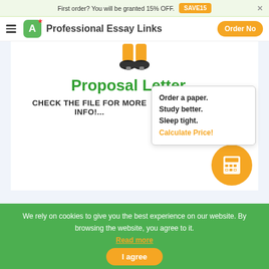First order? You will be granted 15% OFF. SAVE15
Professional Essay Links  Order Now
[Figure (illustration): Partial illustration of a person (feet/legs visible), cropped at top of card area]
Proposal Letter...
CHECK THE FILE FOR MORE INFO!...
Order a paper. Study better. Sleep tight. Calculate Price!
[Figure (other): Orange circle with white calculator icon]
We rely on cookies to give you the best experience on our website. By browsing the website, you agree to it. Read more
I agree